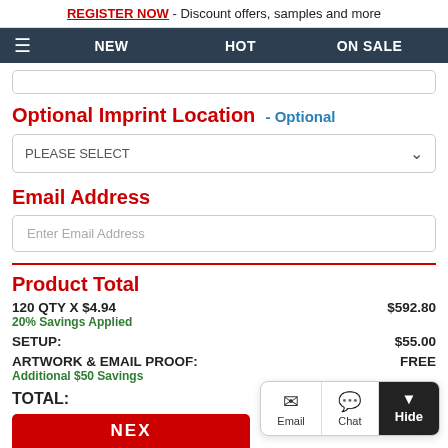REGISTER NOW - Discount offers, samples and more
NEW  HOT  ON SALE
Optional Imprint Location - Optional
PLEASE SELECT
Email Address
Enter Email Address
Product Total
120 QTY X $4.94
20% Savings Applied	$592.80
SETUP:	$55.00
ARTWORK & EMAIL PROOF:
Additional $50 Savings	FREE
TOTAL:
Email  Chat  Hide